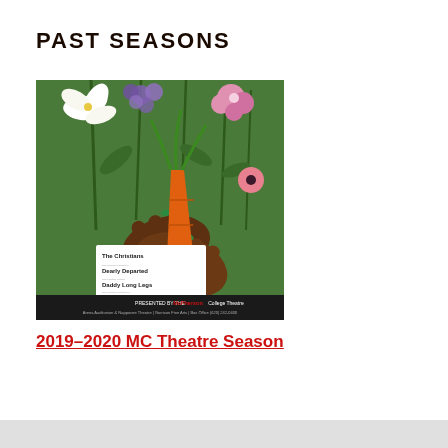PAST SEASONS
[Figure (illustration): Theater season poster for McPherson College Theatre 2019-2020. Illustration of two brown hands holding an orange carrot, surrounded by colorful flowers (white lily, purple/lavender flowers, pink flowers) on a green background. A white panel lists: The Christians, Dearly Departed, Daddy Long Legs, Speak Truth to Power: Voices from Beyond the Veil, Grumpy! Grumpy!, Outside Mullingar. Dark bottom bar reads 'PRESENTED BY THE McPherson College Theatre' with venue and sponsor details.]
2019–2020 MC Theatre Season